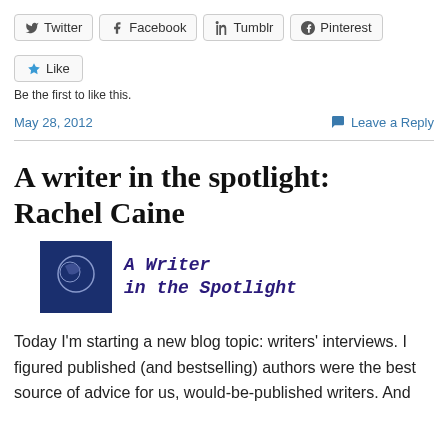[Figure (infographic): Social sharing buttons: Twitter, Facebook, Tumblr, Pinterest]
[Figure (infographic): Like button with star icon]
Be the first to like this.
May 28, 2012
Leave a Reply
A writer in the spotlight: Rachel Caine
[Figure (logo): A Writer in the Spotlight logo — dark blue square with moon/face graphic and italic serif text reading 'A Writer in the Spotlight']
Today I'm starting a new blog topic: writers' interviews. I figured published (and bestselling) authors were the best source of advice for us, would-be-published writers. And